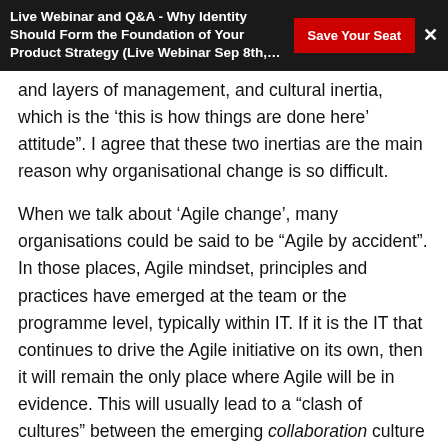Live Webinar and Q&A - Why Identity Should Form the Foundation of Your Product Strategy (Live Webinar Sep 8th,…
and layers of management, and cultural inertia, which is the ‘this is how things are done here’ attitude”. I agree that these two inertias are the main reason why organisational change is so difficult.
When we talk about ‘Agile change’, many organisations could be said to be “Agile by accident”. In those places, Agile mindset, principles and practices have emerged at the team or the programme level, typically within IT. If it is the IT that continues to drive the Agile initiative on its own, then it will remain the only place where Agile will be in evidence. This will usually lead to a “clash of cultures” between the emerging collaboration culture within the delivery teams, and the control